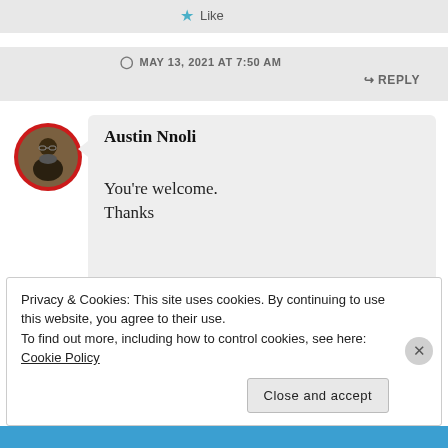★ Like
MAY 13, 2021 AT 7:50 AM
↳ REPLY
[Figure (photo): Circular avatar photo of Austin Nnoli with a red border, showing a person in dark clothing outdoors]
Austin Nnoli
You're welcome.
Thanks
Privacy & Cookies: This site uses cookies. By continuing to use this website, you agree to their use.
To find out more, including how to control cookies, see here: Cookie Policy
Close and accept